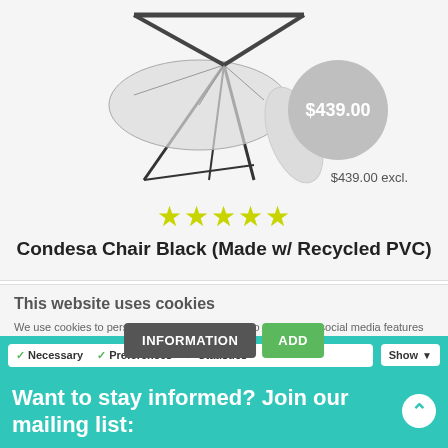[Figure (photo): Product image of Condesa Chair Black with a grey circle price badge showing $439.00]
$439.00 excl.
[Figure (illustration): Five yellow-green star rating icons]
Condesa Chair Black (Made w/ Recycled PVC)
This website uses cookies
We use cookies to personalise content and ads, to provide social media features and to analyse our traffic. We also share information about your use of our site with our social media, advertising and analytics partners who may combine it with other information that you've provided to them or that they've collected from your use of their services. You consent to our cookies if you continue to use our website.
INFORMATION  ADD
OK
✓ Necessary  ✓ Preferences  ✓ Statistics  Show
Want to stay informed? Join our mailing list: